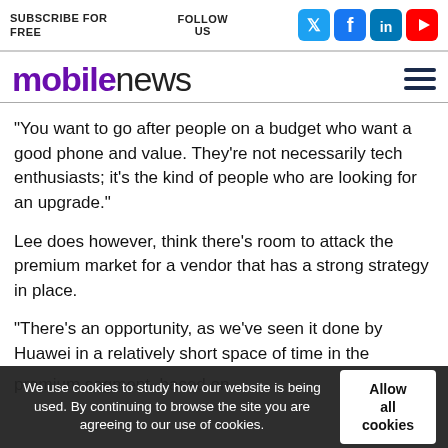SUBSCRIBE FOR FREE   FOLLOW US
[Figure (logo): Mobile News logo with social media icons (Twitter, Facebook, LinkedIn, YouTube) and hamburger menu]
“You want to go after people on a budget who want a good phone and value. They’re not necessarily tech enthusiasts; it’s the kind of people who are looking for an upgrade.”
Lee does however, think there’s room to attack the premium market for a vendor that has a strong strategy in place.
“There’s an opportunity, as we’ve seen it done by Huawei in a relatively short space of time in the premium segment, based on...
We use cookies to study how our website is being used. By continuing to browse the site you are agreeing to our use of cookies.